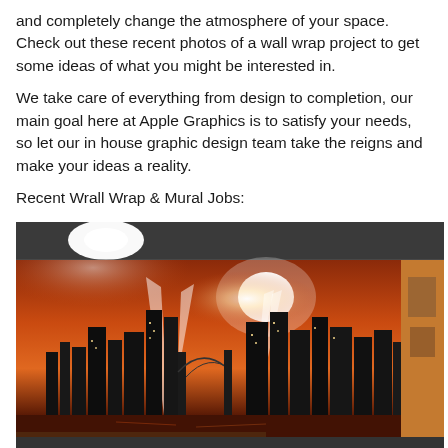and completely change the atmosphere of your space. Check out these recent photos of a wall wrap project to get some ideas of what you might be interested in.
We take care of everything from design to completion, our main goal here at Apple Graphics is to satisfy your needs, so let our in house graphic design team take the reigns and make your ideas a reality.
Recent Wrall Wrap & Mural Jobs:
[Figure (photo): Interior photo of a room with a large wall mural/wrap showing a New York City skyline at night with an orange/red sunset sky, skyscrapers, Brooklyn Bridge, and light beams. Orange walls visible on the sides. A table is partially visible in the foreground.]